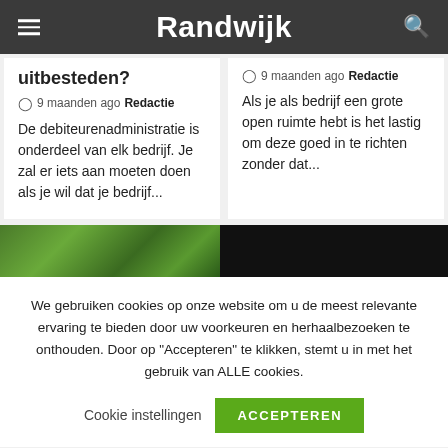Randwijk
uitbesteden?
9 maanden ago Redactie
De debiteurenadministratie is onderdeel van elk bedrijf. Je zal er iets aan moeten doen als je wil dat je bedrijf...
9 maanden ago Redactie
Als je als bedrijf een grote open ruimte hebt is het lastig om deze goed in te richten zonder dat...
[Figure (photo): Green plant foliage photo]
[Figure (photo): Dark/black image]
We gebruiken cookies op onze website om u de meest relevante ervaring te bieden door uw voorkeuren en herhaalbezoeken te onthouden. Door op "Accepteren" te klikken, stemt u in met het gebruik van ALLE cookies.
Cookie instellingen   ACCEPTEREN